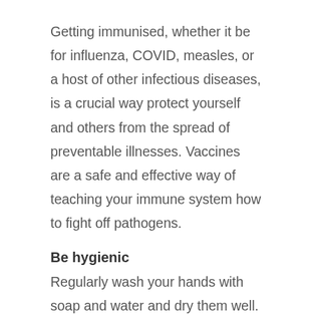Getting immunised, whether it be for influenza, COVID, measles, or a host of other infectious diseases, is a crucial way protect yourself and others from the spread of preventable illnesses. Vaccines are a safe and effective way of teaching your immune system how to fight off pathogens.
Be hygienic
Regularly wash your hands with soap and water and dry them well.  Cough or sneeze into the crook of your arm. Or use tissue and dispose of it safely.
Wear a mask
During a pandemic where a virus is primarily